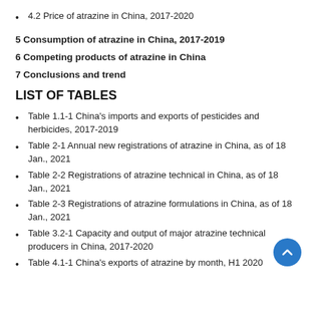4.2 Price of atrazine in China, 2017-2020
5 Consumption of atrazine in China, 2017-2019
6 Competing products of atrazine in China
7 Conclusions and trend
LIST OF TABLES
Table 1.1-1 China's imports and exports of pesticides and herbicides, 2017-2019
Table 2-1 Annual new registrations of atrazine in China, as of 18 Jan., 2021
Table 2-2 Registrations of atrazine technical in China, as of 18 Jan., 2021
Table 2-3 Registrations of atrazine formulations in China, as of 18 Jan., 2021
Table 3.2-1 Capacity and output of major atrazine technical producers in China, 2017-2020
Table 4.1-1 China's exports of atrazine by month, H1 2020